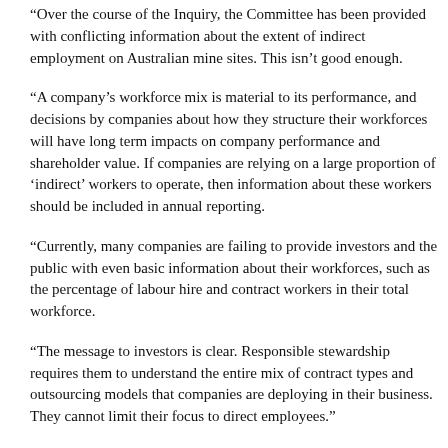“Over the course of the Inquiry, the Committee has been provided with conflicting information about the extent of indirect employment on Australian mine sites. This isn’t good enough.
“A company’s workforce mix is material to its performance, and decisions by companies about how they structure their workforces will have long term impacts on company performance and shareholder value. If companies are relying on a large proportion of ‘indirect’ workers to operate, then information about these workers should be included in annual reporting.
“Currently, many companies are failing to provide investors and the public with even basic information about their workforces, such as the percentage of labour hire and contract workers in their total workforce.
“The message to investors is clear. Responsible stewardship requires them to understand the entire mix of contract types and outsourcing models that companies are deploying in their business. They cannot limit their focus to direct employees.”